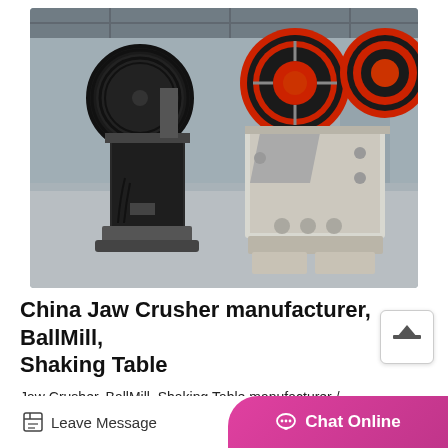[Figure (photo): Two jaw crusher machines photographed in an industrial warehouse/factory setting. The machines are heavy-duty metal equipment with large black and red flywheels on top. Left machine is darker/black, right machine is lighter gray/white colored. Both sit on concrete floor with industrial building structure visible in background.]
China Jaw Crusher manufacturer, BallMill, Shaking Table
Jaw Crusher, BallMill, Shaking Table manufacturer /